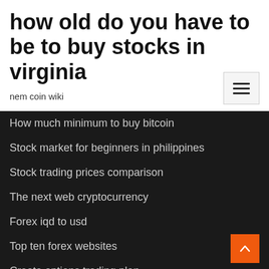how old do you have to be to buy stocks in virginia
nem coin wiki
How much minimum to buy bitcoin
Stock market for beginners in philippines
Stock trading prices comparison
The next web cryptocurrency
Forex iqd to usd
Top ten forex websites
Create options trading plan
Why oil price going up in india